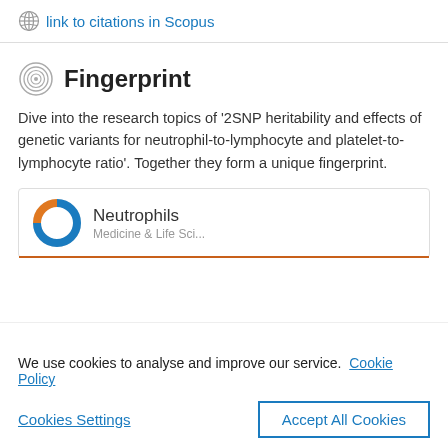link to citations in Scopus
Fingerprint
Dive into the research topics of '2SNP heritability and effects of genetic variants for neutrophil-to-lymphocyte and platelet-to-lymphocyte ratio'. Together they form a unique fingerprint.
Neutrophils
We use cookies to analyse and improve our service. Cookie Policy
Cookies Settings
Accept All Cookies